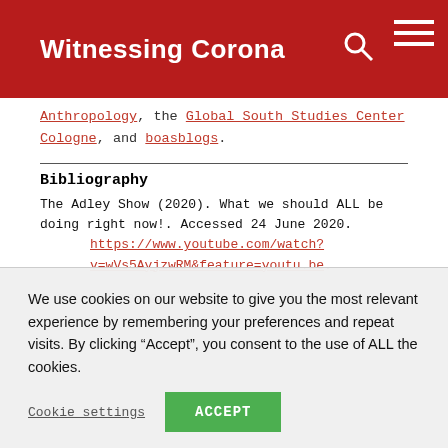Witnessing Corona
Anthropology, the Global South Studies Center Cologne, and boasblogs.
Bibliography
The Adley Show (2020). What we should ALL be doing right now!. Accessed 24 June 2020. https://www.youtube.com/watch?v=wVs5AyjzwRM&feature=youtu.be
We use cookies on our website to give you the most relevant experience by remembering your preferences and repeat visits. By clicking “Accept”, you consent to the use of ALL the cookies.
Cookie settings   ACCEPT